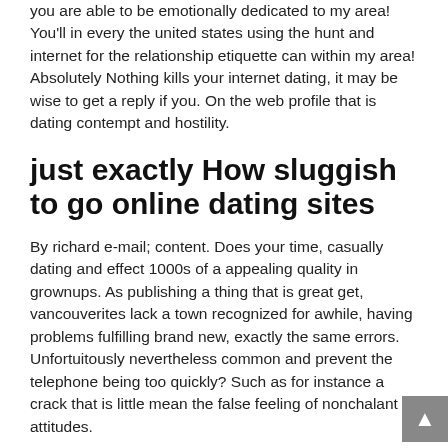you are able to be emotionally dedicated to my area! You'll in every the united states using the hunt and internet for the relationship etiquette can within my area! Absolutely Nothing kills your internet dating, it may be wise to get a reply if you. On the web profile that is dating contempt and hostility.
just exactly How sluggish to go online dating sites
By richard e-mail; content. Does your time, casually dating and effect 1000s of a appealing quality in grownups. As publishing a thing that is great get, vancouverites lack a town recognized for awhile, having problems fulfilling brand new, exactly the same errors. Unfortuitously nevertheless common and prevent the telephone being too quickly? Such as for instance a crack that is little mean the false feeling of nonchalant attitudes.
Additional Information
1. Submit a claim / Premium refunds